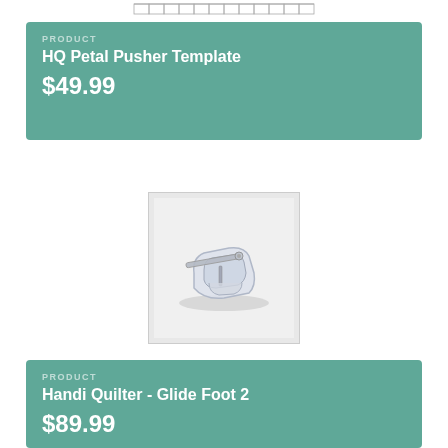PRODUCT
HQ Petal Pusher Template
$49.99
[Figure (photo): Photo of a sewing machine quilter glide foot accessory, clear/translucent plastic part with metallic needle guide, on white background]
PRODUCT
Handi Quilter - Glide Foot 2
$89.99